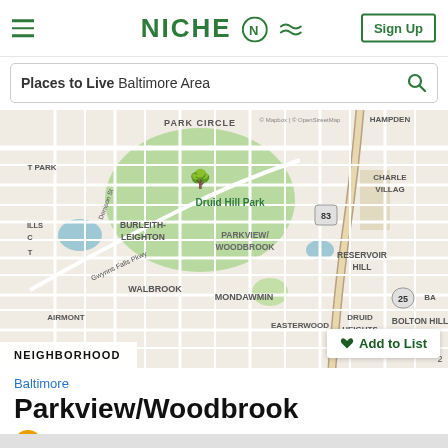NICHE — Sign Up
Places to Live Baltimore Area
[Figure (map): Street map of Baltimore area showing Druid Hill Park, Park Circle, Burleith-Leighton, Parkview/Woodbrook, Walbrook, Mondawmin, Reservoir Hill, Bolton Hill, Druid Heights, Easterwood, and surrounding neighborhoods with road network.]
NEIGHBORHOOD
Add to List
Baltimore
Parkview/Woodbrook
C+ Overall Grade • ★★☆☆☆ 9 reviews